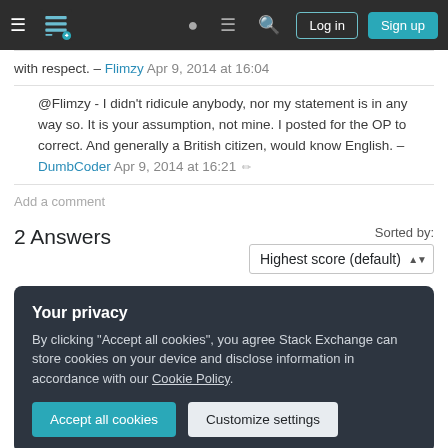Stack Exchange navigation bar with hamburger menu, logo, help, chat, search, Log in, Sign up
with respect. – Flimzy Apr 9, 2014 at 16:04
@Flimzy - I didn't ridicule anybody, nor my statement is in any way so. It is your assumption, not mine. I posted for the OP to correct. And generally a British citizen, would know English. – DumbCoder Apr 9, 2014 at 16:21 ✏
Add a comment
2 Answers
Sorted by: Highest score (default)
Your privacy
By clicking "Accept all cookies", you agree Stack Exchange can store cookies on your device and disclose information in accordance with our Cookie Policy.
Accept all cookies  Customize settings
intend to travel with her for a visit, there aren't